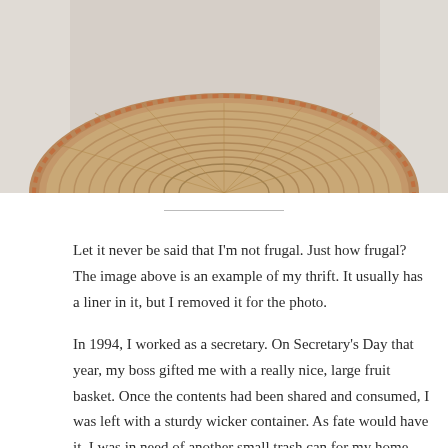[Figure (photo): Bottom portion of a round wicker basket viewed from above, showing woven texture and decorative beaded edge, placed on a light surface.]
Let it never be said that I'm not frugal. Just how frugal? The image above is an example of my thrift. It usually has a liner in it, but I removed it for the photo.
In 1994, I worked as a secretary. On Secretary's Day that year, my boss gifted me with a really nice, large fruit basket. Once the contents had been shared and consumed, I was left with a sturdy wicker container. As fate would have it, I was in need of another small trash can for my home. Being true to my nature, I thought, “Oh, this basket will work until I come up with